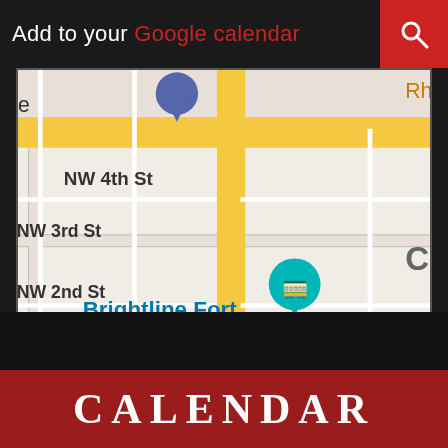Add to your Google calendar
[Figure (map): Google Maps screenshot showing downtown Fort Lauderdale area with labeled locations: Brightline Fort Lauderdale, Revolution Live, Museum of Discovery and Science, Esplanade Park, NSU Art Museum Fort Lauderdale, The Wharf Fort Lauderdale, Broward County, and street labels including NW 4th St, NW 3rd St, NW 2nd St, NW 1st St, NW 9th Ave, N Ave Of Arts, NE 3rd St, SW 4th St, SW 4th Ct, Bryan Pl, SE 4th St. Also shows route markers 842 and 811.]
CALENDAR